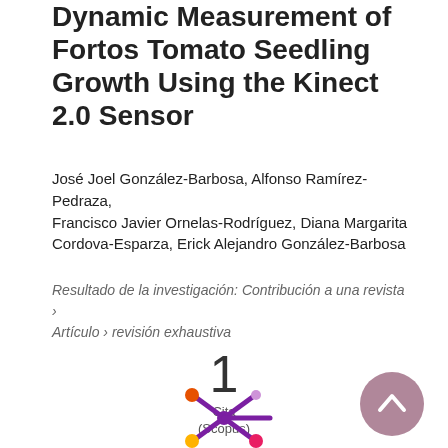Dynamic Measurement of Fortos Tomato Seedling Growth Using the Kinect 2.0 Sensor
José Joel González-Barbosa, Alfonso Ramírez-Pedraza, Francisco Javier Ornelas-Rodríguez, Diana Margarita Cordova-Esparza, Erick Alejandro González-Barbosa
Resultado de la investigación: Contribución a una revista › Artículo › revisión exhaustiva
1 Cita (Scopus)
[Figure (logo): Colorful asterisk/snowflake logo with orange, purple, pink and yellow circles at the tips of the arms]
[Figure (other): Circular mauve/gray scroll-to-top button with upward chevron arrow]